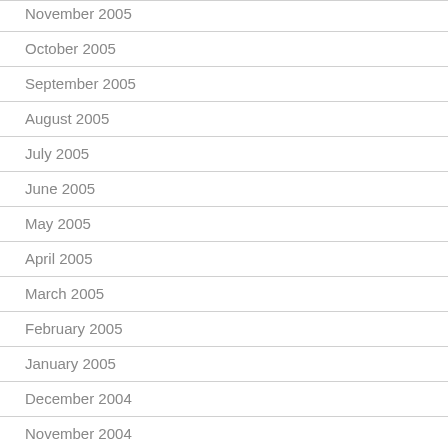November 2005
October 2005
September 2005
August 2005
July 2005
June 2005
May 2005
April 2005
March 2005
February 2005
January 2005
December 2004
November 2004
October 2004